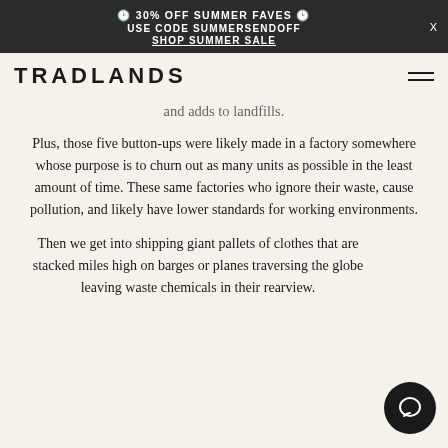🌿 30% OFF SUMMER FAVES 🌿 USE CODE SUMMERSENDOFF SHOP SUMMER SALE
TRADLANDS
and adds to landfills.
Plus, those five button-ups were likely made in a factory somewhere whose purpose is to churn out as many units as possible in the least amount of time. These same factories who ignore their waste, cause pollution, and likely have lower standards for working environments.
Then we get into shipping giant pallets of clothes that are stacked miles high on barges or planes traversing the globe leaving waste chemicals in their rearview.